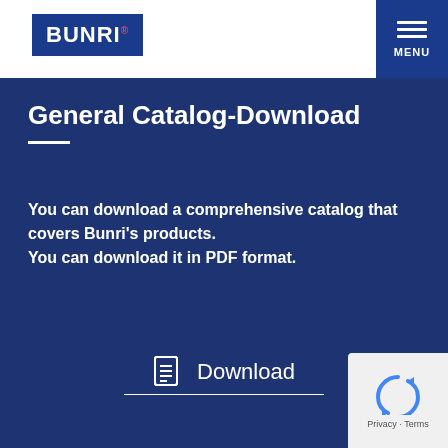BUNRI
General Catalog-Download
You can download a comprehensive catalog that covers Bunri's products. You can download it in PDF format.
Download
Inquiry